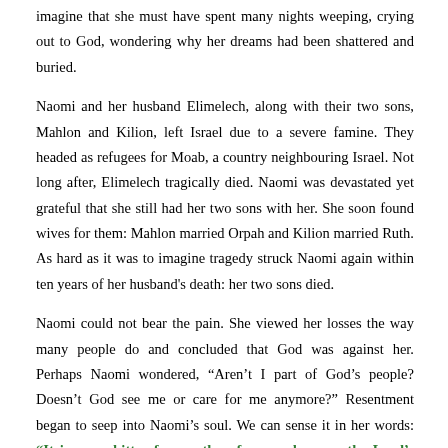imagine that she must have spent many nights weeping, crying out to God, wondering why her dreams had been shattered and buried.
Naomi and her husband Elimelech, along with their two sons, Mahlon and Kilion, left Israel due to a severe famine. They headed as refugees for Moab, a country neighbouring Israel. Not long after, Elimelech tragically died. Naomi was devastated yet grateful that she still had her two sons with her. She soon found wives for them: Mahlon married Orpah and Kilion married Ruth. As hard as it was to imagine tragedy struck Naomi again within ten years of her husband's death: her two sons died.
Naomi could not bear the pain. She viewed her losses the way many people do and concluded that God was against her. Perhaps Naomi wondered, “Aren’t I part of God’s people? Doesn’t God see me or care for me anymore?” Resentment began to seep into Naomi’s soul. We can sense it in her words: “It is more bitter for me than for you, because the Lord’s hand has turned against me!” (Ruth 1:13). In fact, Naomi told her friends to call her “Mara”